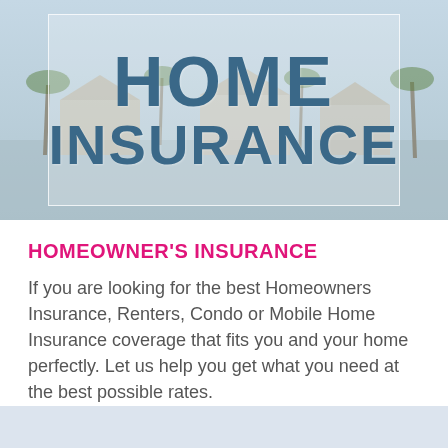[Figure (photo): Hero banner with a tropical home background image (palm trees and a house), with a semi-transparent white border overlay containing the title 'HOME INSURANCE' in bold dark blue text.]
HOME INSURANCE
HOMEOWNER'S INSURANCE
If you are looking for the best Homeowners Insurance, Renters, Condo or Mobile Home Insurance coverage that fits you and your home perfectly. Let us help you get what you need at the best possible rates.